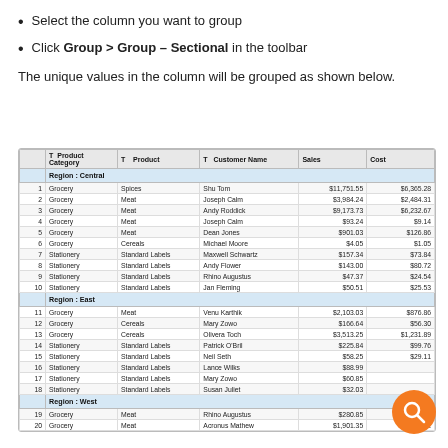Select the column you want to group
Click Group > Group – Sectional in the toolbar
The unique values in the column will be grouped as shown below.
|  | T  Product Category | T  Product | T  Customer Name | Sales | Cost |
| --- | --- | --- | --- | --- | --- |
| Region : Central |  |  |  |  |  |
| 1 | Grocery | Spices | Shu Tom | $11,751.55 | $6,365.28 |
| 2 | Grocery | Meat | Joseph Calm | $3,984.24 | $2,484.31 |
| 3 | Grocery | Meat | Andy Roddick | $9,173.73 | $6,232.67 |
| 4 | Grocery | Meat | Joseph Calm | $93.24 | $9.14 |
| 5 | Grocery | Meat | Dean Jones | $901.03 | $126.86 |
| 6 | Grocery | Cereals | Michael Moore | $4.05 | $1.05 |
| 7 | Stationery | Standard Labels | Maxwell Schwartz | $157.34 | $73.84 |
| 8 | Stationery | Standard Labels | Andy Flower | $143.00 | $80.72 |
| 9 | Stationery | Standard Labels | Rhino Augustus | $47.37 | $24.54 |
| 10 | Stationery | Standard Labels | Jan Fleming | $50.51 | $25.53 |
| Region : East |  |  |  |  |  |
| 11 | Grocery | Meat | Venu Karthik | $2,103.03 | $876.86 |
| 12 | Grocery | Cereals | Mary Zowo | $166.64 | $56.30 |
| 13 | Grocery | Cereals | Olivera Toch | $3,513.25 | $1,231.89 |
| 14 | Stationery | Standard Labels | Patrick O'Bril | $225.84 | $99.76 |
| 15 | Stationery | Standard Labels | Neil Seth | $58.25 | $29.11 |
| 16 | Stationery | Standard Labels | Lance Wilks | $88.99 |  |
| 17 | Stationery | Standard Labels | Mary Zowo | $60.85 |  |
| 18 | Stationery | Standard Labels | Susan Juliet | $32.03 |  |
| Region : West |  |  |  |  |  |
| 19 | Grocery | Meat | Rhino Augustus | $280.85 | $50.42 |
| 20 | Grocery | Meat | Acronus Mathew | $1,901.35 | $877.62 |